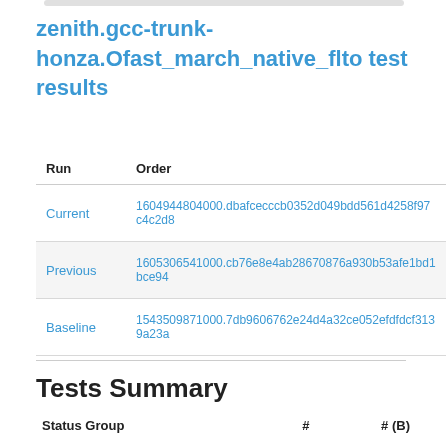zenith.gcc-trunk-honza.Ofast_march_native_flto test results
| Run | Order |
| --- | --- |
| Current | 1604944804000.dbafcecccb0352d049bdd561d4258f97c4c2d8 |
| Previous | 1605306541000.cb76e8e4ab28670876a930b53afe1bd1bce94 |
| Baseline | 1543509871000.7db9606762e24d4a32ce052efdfdcf3139a23a |
Tests Summary
| Status Group | # | # (B) |
| --- | --- | --- |